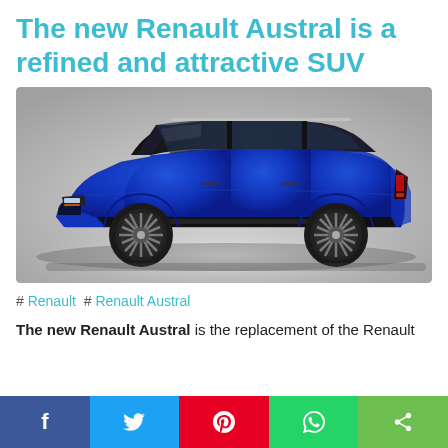The new Renault Austral is a refined and attractive SUV
[Figure (photo): Side profile photo of a blue Renault Austral SUV on a white/grey studio background]
# Renault # Renault Austral
The new Renault Austral is the replacement of the Renault